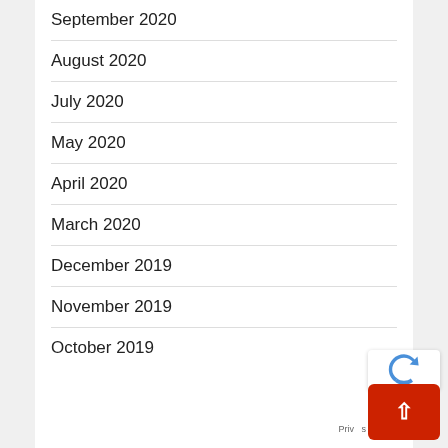September 2020
August 2020
July 2020
May 2020
April 2020
March 2020
December 2019
November 2019
October 2019